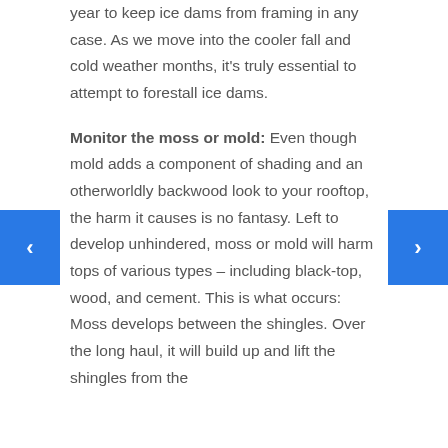year to keep ice dams from framing in any case. As we move into the cooler fall and cold weather months, it's truly essential to attempt to forestall ice dams.
Monitor the moss or mold: Even though mold adds a component of shading and an otherworldly backwood look to your rooftop, the harm it causes is no fantasy. Left to develop unhindered, moss or mold will harm tops of various types – including black-top, wood, and cement. This is what occurs: Moss develops between the shingles. Over the long haul, it will build up and lift the shingles from the